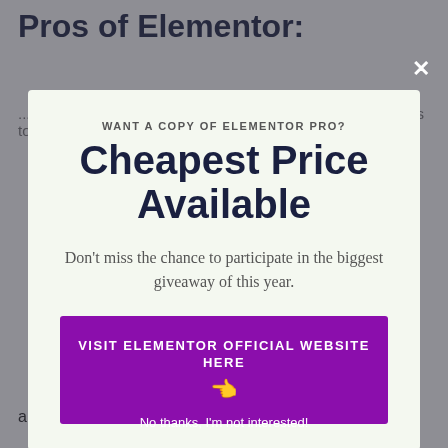Pros of Elementor:
...without any kind of HTML, CSS or PHP abilities.
[Figure (screenshot): Modal popup overlay on a webpage about Elementor. Contains promotional text and a call-to-action button.]
WANT A COPY OF ELEMENTOR PRO?
Cheapest Price Available
Don't miss the chance to participate in the biggest giveaway of this year.
VISIT ELEMENTOR OFFICIAL WEBSITE HERE 👈
No thanks, I'm not interested!